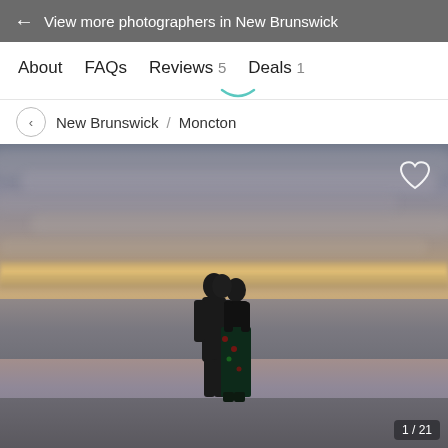← View more photographers in New Brunswick
About   FAQs   Reviews 5   Deals 1
New Brunswick / Moncton
[Figure (photo): A couple kissing or leaning together in silhouette against a dramatic sunset sky over water, with golden horizon and cloudy sky. A heart/favorite icon appears top-right. Counter '1/21' bottom-right.]